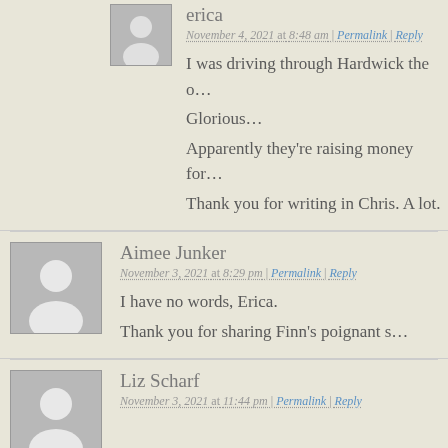erica
November 4, 2021 at 8:48 am | Permalink | Reply
I was driving through Hardwick the o…
Glorious…
Apparently they're raising money for…
Thank you for writing in Chris. A lot.
Aimee Junker
November 3, 2021 at 8:29 pm | Permalink | Reply
I have no words, Erica.
Thank you for sharing Finn's poignant s…
Liz Scharf
November 3, 2021 at 11:44 pm | Permalink | Reply